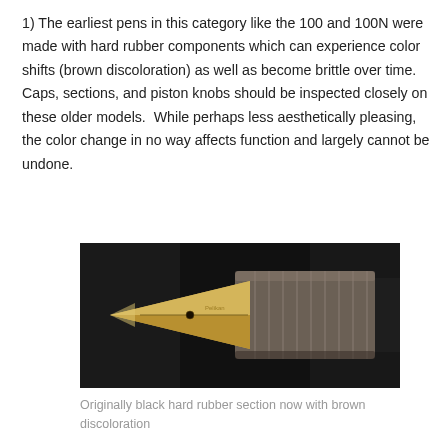1) The earliest pens in this category like the 100 and 100N were made with hard rubber components which can experience color shifts (brown discoloration) as well as become brittle over time.  Caps, sections, and piston knobs should be inspected closely on these older models.  While perhaps less aesthetically pleasing, the color change in no way affects function and largely cannot be undone.
[Figure (photo): Close-up photograph of a fountain pen nib and section. The nib is gold/brass colored with a small vent hole visible. The section (grip area) appears to be hard rubber that has turned brownish, showing discoloration against a dark background.]
Originally black hard rubber section now with brown discoloration